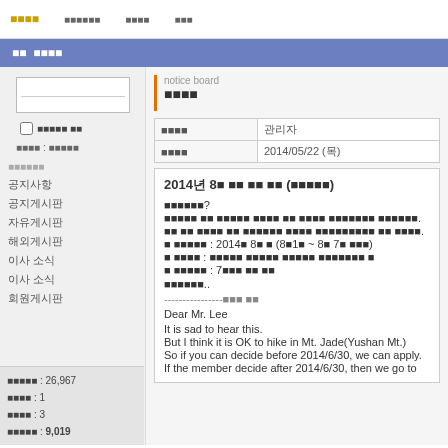notice board 공지사항
공지 사항게시판
공지사항
공지게시판
자유게시판
해외게시판
이사 소식
이사 소식
회원게시판
방문자수 : 26,967
게시물수 : 1
댓글수 : 3
회원수 : 9,019
notice board
공지사항
| 공지사항 | 관리자 |
| --- | --- |
| 등록일시 | 2014/05/22 (목) |
2014년 8월 산행 모집 안내 (가이드산행)
안녕하세요?
이번에 부산 분들을 위한 국내 최고 명산을 안내하게 되었습니다.
이번 부산 권 분들을 위한 강행으로 일반여행사의 비교는 하지 않겠습니다.
■ 산행일시 : 2014년 8월 중 (8월1일 ~ 8월 7일 중에서)
■ 산행장소 : 국립공원 북한산국립공원 설악산국립공원이 아
■ 모집인원 : 7인이 다 되면 예정
참가하세요...

----------------참가신청 방법

Dear Mr. Lee

It is sad to hear this.

But I think it is OK to hike in Mt. Jade(Yushan Mt.)

So if you can decide before 2014/6/30, we can apply.

If the member decide after 2014/6/30, then we go to